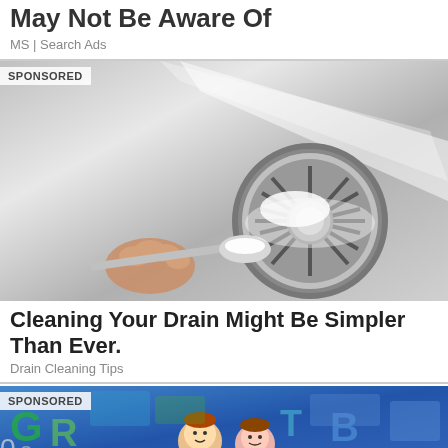May Not Be Aware Of
MS | Search Ads
[Figure (photo): Sponsored ad image showing a hand holding a spoon with white powder (baking soda) over a stainless steel sink drain]
Cleaning Your Drain Might Be Simpler Than Ever.
Drain Cleaning Tips
[Figure (photo): Sponsored ad image showing people in front of graffiti wall with cartoon-style illustrations]